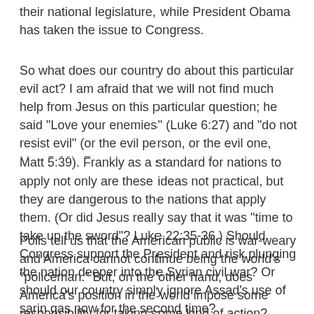their national legislature, while President Obama has taken the issue to Congress.
So what does our country do about this particular evil act?  I am afraid that we will not find much help from Jesus on this particular question; he said "Love your enemies" (Luke 6:27) and "do not resist evil" (or the evil person, or the evil one, Matt 5:39).  Frankly as a standard for nations to apply not only are these ideas not practical, but they are dangerous to the nations that apply them.  (Or did Jesus really say that it was "time to take up the sword"? Luke 22:35-36.)  Should Congress support the President and risk plunging the nation deeper into the Syrian civil war?  Or should our country simply ignore Assad's use of sarin gas now for the second time?
Polls tell us that the American public is war-weary and America cannot continue being the world's "policeman."  But, on the other hand, does America's position in the world impose some responsibility for taking some kind of action?  Would not our isolationist tendencies in this regard, and our anti-war marches amount to condoning the use of sarin gas